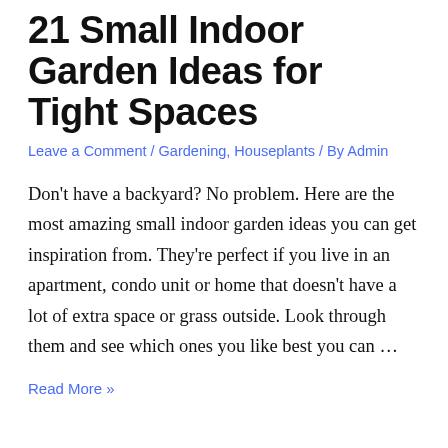21 Small Indoor Garden Ideas for Tight Spaces
Leave a Comment / Gardening, Houseplants / By Admin
Don't have a backyard? No problem. Here are the most amazing small indoor garden ideas you can get inspiration from. They're perfect if you live in an apartment, condo unit or home that doesn't have a lot of extra space or grass outside. Look through them and see which ones you like best you can …
Read More »